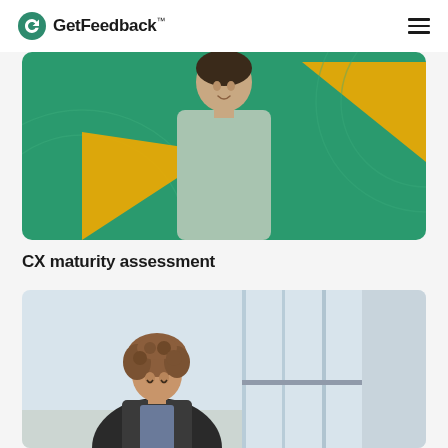GetFeedback™
[Figure (photo): Woman in mint/sage green outfit against a teal/green background with yellow-gold geometric triangle shapes. She is smiling with arms crossed.]
CX maturity assessment
[Figure (photo): Woman with curly hair in a black jacket looking down, seated near large windows in an office environment. A green circular document icon is overlaid in the top right corner of the card.]